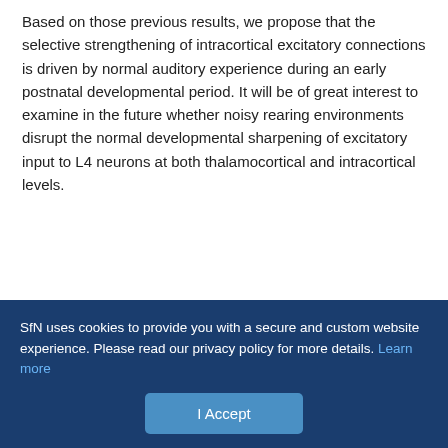Based on those previous results, we propose that the selective strengthening of intracortical excitatory connections is driven by normal auditory experience during an early postnatal developmental period. It will be of great interest to examine in the future whether noisy rearing environments disrupt the normal developmental sharpening of excitatory input to L4 neurons at both thalamocortical and intracortical levels.
Footnotes
This work was supported by National Institutes of Health (NIH) Grant R01DC008983 and by the David and Lucile Packard Foundation to L.I.Z., NIH Grants R01EY019049 and R01EY029034 to M.T., and NIH Grant U01EY029999...
SfN uses cookies to provide you with a secure and custom website experience. Please read our privacy policy for more details. Learn more